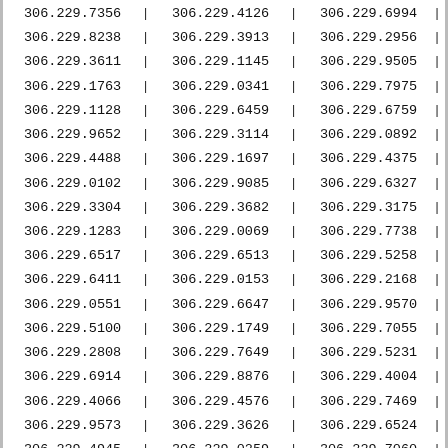| col1 | col2 | col3 |
| --- | --- | --- |
| 306.229.7356 | 306.229.4126 | 306.229.6994 |
| 306.229.8238 | 306.229.3913 | 306.229.2956 |
| 306.229.3611 | 306.229.1145 | 306.229.9505 |
| 306.229.1763 | 306.229.0341 | 306.229.7975 |
| 306.229.1128 | 306.229.6459 | 306.229.6759 |
| 306.229.9652 | 306.229.3114 | 306.229.0892 |
| 306.229.4488 | 306.229.1697 | 306.229.4375 |
| 306.229.0102 | 306.229.9085 | 306.229.6327 |
| 306.229.3304 | 306.229.3682 | 306.229.3175 |
| 306.229.1283 | 306.229.0069 | 306.229.7738 |
| 306.229.6517 | 306.229.6513 | 306.229.5258 |
| 306.229.6411 | 306.229.0153 | 306.229.2168 |
| 306.229.0551 | 306.229.6647 | 306.229.9570 |
| 306.229.5100 | 306.229.1749 | 306.229.7055 |
| 306.229.2808 | 306.229.7649 | 306.229.5231 |
| 306.229.6914 | 306.229.8876 | 306.229.4004 |
| 306.229.4066 | 306.229.4576 | 306.229.7469 |
| 306.229.9573 | 306.229.3626 | 306.229.6524 |
| 306.229.4945 | 306.229.0259 | 306.229.7060 |